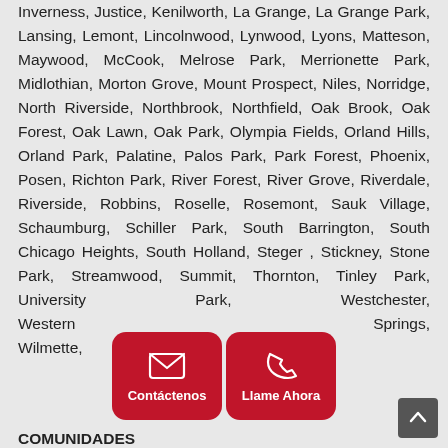Inverness, Justice, Kenilworth, La Grange, La Grange Park, Lansing, Lemont, Lincolnwood, Lynwood, Lyons, Matteson, Maywood, McCook, Melrose Park, Merrionette Park, Midlothian, Morton Grove, Mount Prospect, Niles, Norridge, North Riverside, Northbrook, Northfield, Oak Brook, Oak Forest, Oak Lawn, Oak Park, Olympia Fields, Orland Hills, Orland Park, Palatine, Palos Park, Park Forest, Phoenix, Posen, Richton Park, River Forest, River Grove, Riverdale, Riverside, Robbins, Roselle, Rosemont, Sauk Village, Schaumburg, Schiller Park, South Barrington, South Chicago Heights, South Holland, Steger , Stickney, Stone Park, Streamwood, Summit, Thornton, Tinley Park, University Park, Westchester, Western Springs, Wilmette, Winnetka, Worth
COMUNIDADES